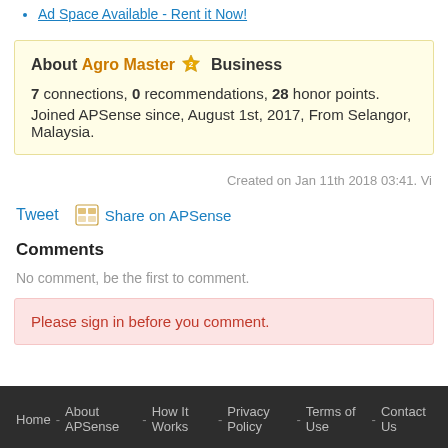Ad Space Available - Rent it Now!
About Agro Master ⭐ Business
7 connections, 0 recommendations, 28 honor points.
Joined APSense since, August 1st, 2017, From Selangor, Malaysia.
Created on Jan 11th 2018 03:41. Vi
Tweet   Share on APSense
Comments
No comment, be the first to comment.
Please sign in before you comment.
Home - About APSense - How It Works - Privacy Policy - Terms of Use - Contact Us